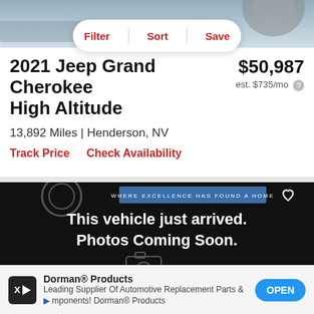[Figure (screenshot): Top portion of a car photo visible at the top of the page]
[Figure (screenshot): Filter/Sort/Save pill navigation overlay]
2021 Jeep Grand Cherokee High Altitude
$50,987
est. $735/mo
13,892 Miles | Henderson, NV
Track Price   Check Availability
[Figure (screenshot): Black placeholder image with text: This vehicle just arrived. Photos Coming Soon. Camera icon outline. WHERE EXCELLENCE HAS FOUND A HOME banner. Heart icon.]
[Figure (screenshot): Advertisement banner: Dorman® Products - Leading Supplier Of Automotive Replacement Parts & Components! Dorman® Products. OPEN button.]